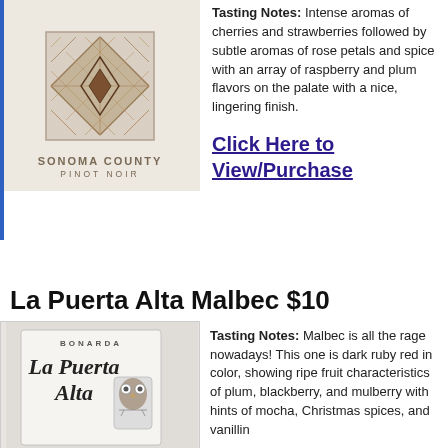[Figure (illustration): Wine bottle label with geometric diamond/wood pattern design on beige background, reading SONOMA COUNTY PINOT NOIR]
Tasting Notes: Intense aromas of cherries and strawberries followed by subtle aromas of rose petals and spice with an array of raspberry and plum flavors on the palate with a nice, lingering finish.
Click Here to View/Purchase
La Puerta Alta Malbec $10
[Figure (illustration): La Puerta Alta wine bottle label showing BONARDA text at top, large italic La Puerta Alta text, and an owl illustration on right side]
Tasting Notes: Malbec is all the rage nowadays! This one is dark ruby red in color, showing ripe fruit characteristics of plum, blackberry, and mulberry with hints of mocha, Christmas spices, and vanillin